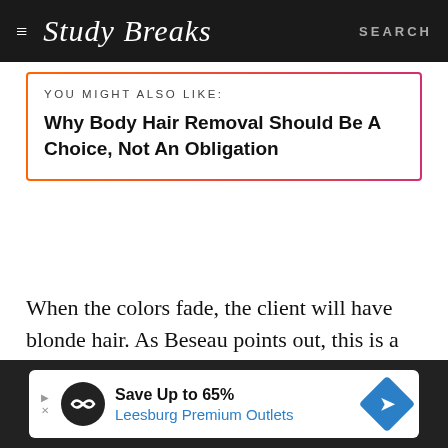Study Breaks   SEARCH
YOU MIGHT ALSO LIKE:
Why Body Hair Removal Should Be A Choice, Not An Obligation
When the colors fade, the client will have blonde hair. As Beseau points out, this is a look that can be fun without having to go all in on the
[Figure (other): Advertisement banner: Save Up to 65% Leesburg Premium Outlets, with circular logo and blue diamond arrow badge]